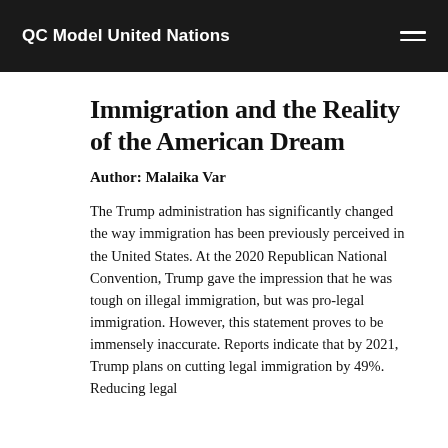QC Model United Nations
Immigration and the Reality of the American Dream
Author: Malaika Var
The Trump administration has significantly changed the way immigration has been previously perceived in the United States. At the 2020 Republican National Convention, Trump gave the impression that he was tough on illegal immigration, but was pro-legal immigration. However, this statement proves to be immensely inaccurate. Reports indicate that by 2021, Trump plans on cutting legal immigration by 49%. Reducing legal